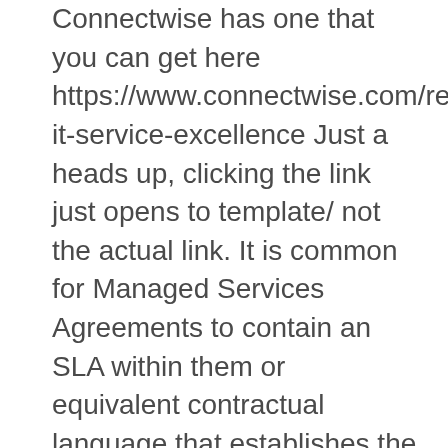Connectwise has one that you can get here https://www.connectwise.com/resources/ebook-it-service-excellence Just a heads up, clicking the link just opens to template/ not the actual link. It is common for Managed Services Agreements to contain an SLA within them or equivalent contractual language that establishes the specifics of service portion of the contract. Failure to pay: If payment is not received by the first of the month for that month of service MSP reserves the right to put a hold on rendering on-site and remote services until monthly fee has been paid, provided MSP gives a five (5) business day notice of late payment. Thank you for this. Looks like we were going way to complicated in our agreement so this will help very much msp service agreement template.